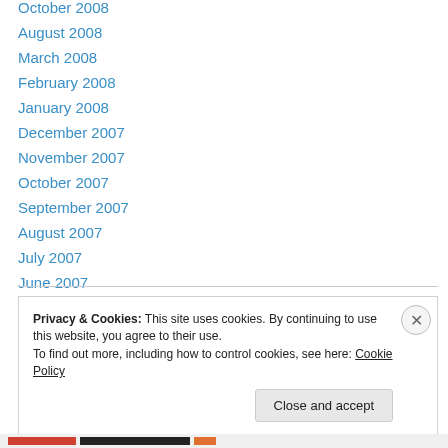October 2008
August 2008
March 2008
February 2008
January 2008
December 2007
November 2007
October 2007
September 2007
August 2007
July 2007
June 2007
Privacy & Cookies: This site uses cookies. By continuing to use this website, you agree to their use. To find out more, including how to control cookies, see here: Cookie Policy